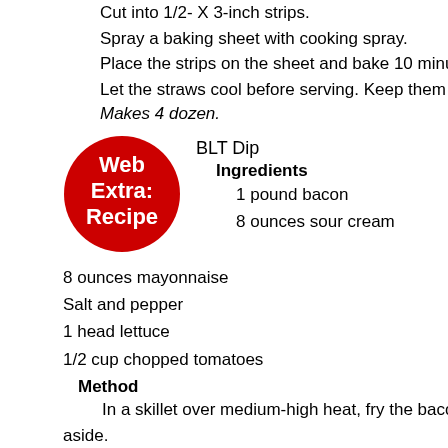Cut into 1/2- X 3-inch strips.
Spray a baking sheet with cooking spray.
Place the strips on the sheet and bake 10 minutes, or until brown
Let the straws cool before serving. Keep them stored in an airtigh
Makes 4 dozen.
BLT Dip
[Figure (illustration): Red circle badge with white text 'Web Extra: Recipe']
Ingredients
1 pound bacon
8 ounces sour cream
8 ounces mayonnaise
Salt and pepper
1 head lettuce
1/2 cup chopped tomatoes
Method
In a skillet over medium-high heat, fry the bacon until crisp. Crum aside.
In a medium bowl, combine the sour cream and mayonnaise. Sti and pepper to taste.
Line a serving bowl with lettuce leaves. Spoon the dip into the le with the chopped tomatoes.